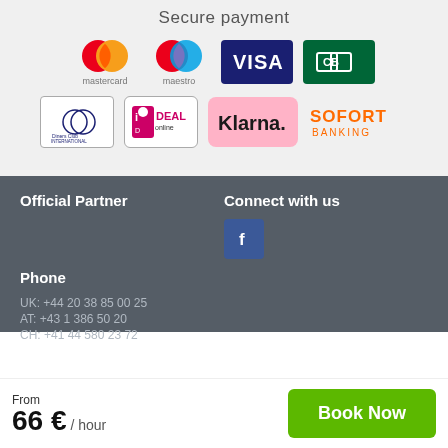Secure payment
[Figure (logo): Payment method logos: Mastercard, Maestro, VISA, CB (Carte Bancaire), Diners Club International, iDEAL, Klarna, SOFORT Banking]
Official Partner
Connect with us
[Figure (logo): Facebook logo icon (blue square with white f)]
Phone
UK: +44 20 38 85 00 25
AT: +43 1 386 50 20
CH: +41 44 580 23 72
From
66 € / hour
Book Now